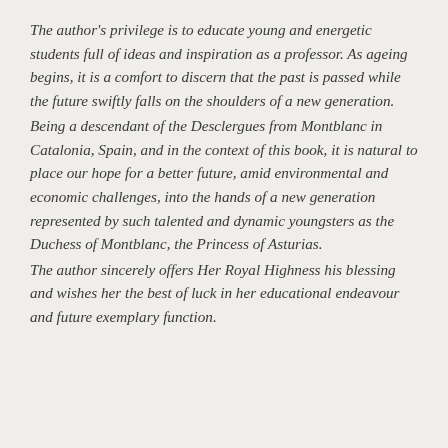The author's privilege is to educate young and energetic students full of ideas and inspiration as a professor. As ageing begins, it is a comfort to discern that the past is passed while the future swiftly falls on the shoulders of a new generation.
Being a descendant of the Desclergues from Montblanc in Catalonia, Spain, and in the context of this book, it is natural to place our hope for a better future, amid environmental and economic challenges, into the hands of a new generation represented by such talented and dynamic youngsters as the Duchess of Montblanc, the Princess of Asturias.
The author sincerely offers Her Royal Highness his blessing and wishes her the best of luck in her educational endeavour and future exemplary function.